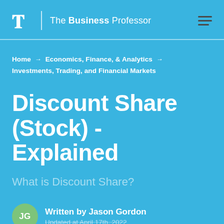The Business Professor
Home → Economics, Finance, & Analytics → Investments, Trading, and Financial Markets
Discount Share (Stock) - Explained
What is Discount Share?
Written by Jason Gordon
Updated at April 17th, 2022